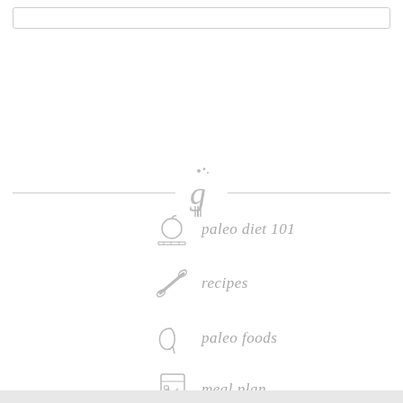[Figure (other): Search bar / input box at top of page]
[Figure (logo): Paleo grubs style logo with fork icon and cursive 'g' letter with sparkles, flanked by horizontal divider lines]
paleo diet 101
recipes
paleo foods
meal plan